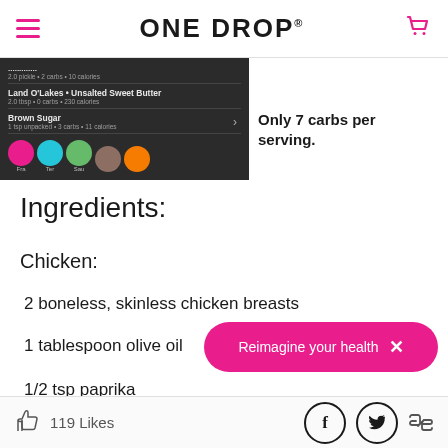ONE DROP
[Figure (screenshot): Mobile app screenshot showing food log entries: Land O'Lakes Unsalted Sweet Butter (2.0 tbsp, 0 carbs, 230 calories), Brown Sugar (1 tsp unpacked, 3 carbs, 11 calories), and colored dot indicators for Fats, Teriyaki, Sauce categories]
Only 7 carbs per serving.
Ingredients:
Chicken:
2 boneless, skinless chicken breasts
1 tablespoon olive oil
1/2 tsp paprika
Reimagine your health  ✕
119 Likes